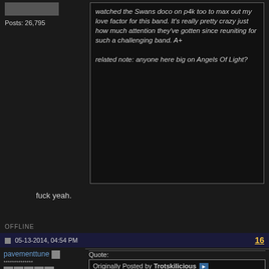[Figure (photo): Small avatar image, partially visible at top left]
Posts: 26,795
watched the Swans doco on p4k too to max out my love factor for this band. It's really pretty crazy just how much attention they've gotten since reuniting for such a challenging band. A+

related note: anyone here big on Angels Of Light?
fuck yeah.
OFFLINE
05-13-2014, 04:54 PM
16
pavementtune
Quote:
Originally Posted by Trotskilicious
This band sucks, fucking hipsters dont even try
[Figure (photo): Baby elephant photo]
Location: I'm a quitter, I come
http://forum.angelsport.de/pics/faq/...maenner_11.jpg